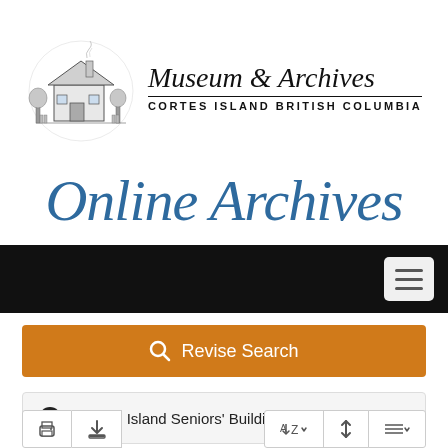[Figure (logo): Museum & Archives Cortes Island British Columbia logo with illustrated building sketch on left and cursive script text on right]
Online Archives
[Figure (screenshot): Black navigation bar with hamburger menu button on right]
[Figure (screenshot): Orange search bar with magnifying glass icon and 'Revise Search' label]
"Cortes Island Seniors' Building Society"
[Figure (screenshot): Bottom toolbar with print, download, sort A-Z, sort order, and list view buttons]